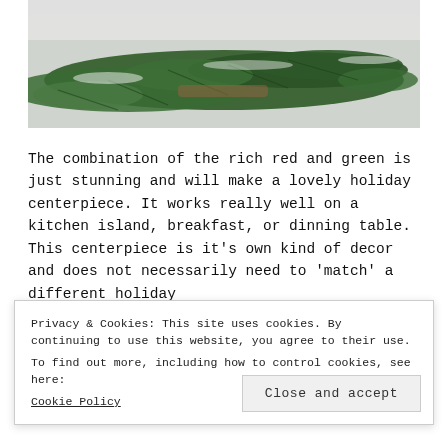[Figure (photo): Close-up photograph of green pine/cedar branches with snow and what appears to be a wooden surface or bark in the background, forming a holiday centerpiece arrangement.]
The combination of the rich red and green is just stunning and will make a lovely holiday centerpiece. It works really well on a kitchen island, breakfast, or dinning table. This centerpiece is it's own kind of decor and does not necessarily need to 'match' a different holiday
Privacy & Cookies: This site uses cookies. By continuing to use this website, you agree to their use.
To find out more, including how to control cookies, see here:
Cookie Policy
Close and accept